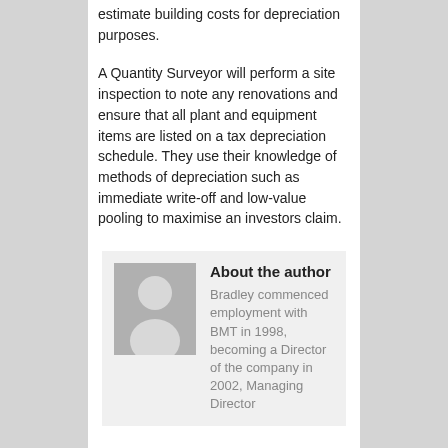estimate building costs for depreciation purposes.
A Quantity Surveyor will perform a site inspection to note any renovations and ensure that all plant and equipment items are listed on a tax depreciation schedule. They use their knowledge of methods of depreciation such as immediate write-off and low-value pooling to maximise an investors claim.
About the author
[Figure (photo): Placeholder profile photo of a person silhouette on grey background]
Bradley commenced employment with BMT in 1998, becoming a Director of the company in 2002, Managing Director